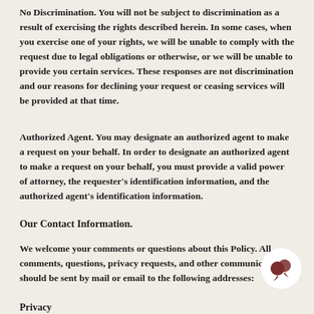No Discrimination. You will not be subject to discrimination as a result of exercising the rights described herein. In some cases, when you exercise one of your rights, we will be unable to comply with the request due to legal obligations or otherwise, or we will be unable to provide you certain services. These responses are not discrimination and our reasons for declining your request or ceasing services will be provided at that time.
Authorized Agent. You may designate an authorized agent to make a request on your behalf. In order to designate an authorized agent to make a request on your behalf, you must provide a valid power of attorney, the requester's identification information, and the authorized agent's identification information.
Our Contact Information.
We welcome your comments or questions about this Policy. All comments, questions, privacy requests, and other communications should be sent by mail or email to the following addresses:
Privacy